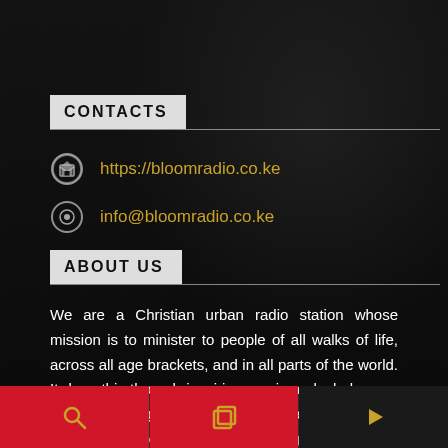CONTACTS
https://bloomradio.co.ke
info@bloomradio.co.ke
ABOUT US
We are a Christian urban radio station whose mission is to minister to people of all walks of life, across all age brackets, and in all parts of the world. It does this through inspiring music and wholesome programs that give hope to the hopeless, renewal of strength for the weak, and teachings on having a close relationship with the Lord Jesus Christ our Saviour.
[Figure (screenshot): Bottom navigation bar with red background containing search icon, layers/copy icon on red segments and a play icon on dark segment]